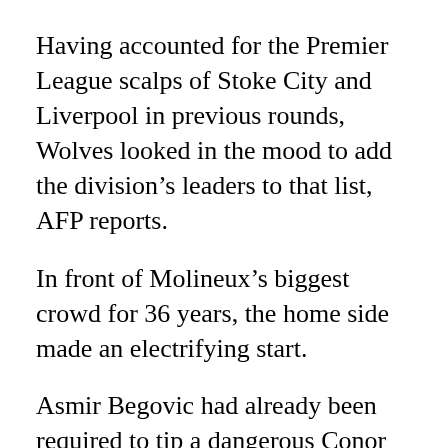Having accounted for the Premier League scalps of Stoke City and Liverpool in previous rounds, Wolves looked in the mood to add the division’s leaders to that list, AFP reports.
In front of Molineux’s biggest crowd for 36 years, the home side made an electrifying start.
Asmir Begovic had already been required to tip a dangerous Conor Coady cross over his bar in the opening exchanges when former Chelsea youngster George Saville found the ball at his feet 15 yards out.
The unmarked midfielder unleashed a powerful left-foot shot that thundered against the left-hand post, with Andreas